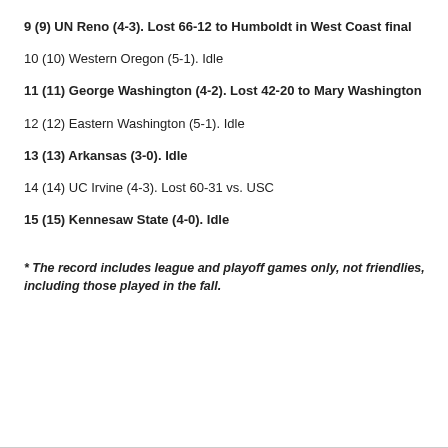9 (9) UN Reno (4-3). Lost 66-12 to Humboldt in West Coast final
10 (10) Western Oregon (5-1). Idle
11 (11) George Washington (4-2). Lost 42-20 to Mary Washington
12 (12) Eastern Washington (5-1). Idle
13 (13) Arkansas (3-0). Idle
14 (14) UC Irvine (4-3). Lost 60-31 vs. USC
15 (15) Kennesaw State (4-0). Idle
* The record includes league and playoff games only, not friendlies, including those played in the fall.